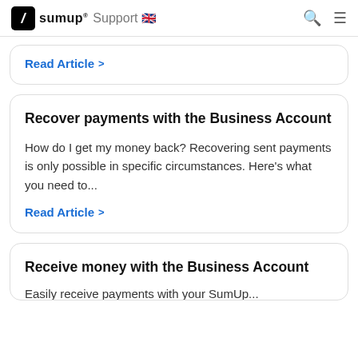SumUp® Support 🇬🇧
Read Article >
Recover payments with the Business Account
How do I get my money back? Recovering sent payments is only possible in specific circumstances. Here's what you need to...
Read Article >
Receive money with the Business Account
Easily receive payments with your SumUp...